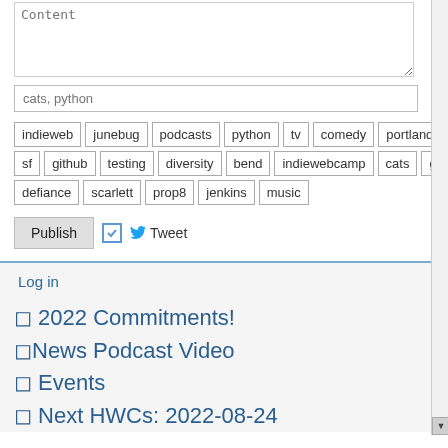[Figure (screenshot): Content textarea input field with placeholder text 'Content']
[Figure (screenshot): Tags input field with placeholder text 'cats, python']
indieweb junebug podcasts python tv comedy portland
sf github testing diversity bend indiewebcamp cats gittip
defiance scarlett prop8 jenkins music
[Figure (screenshot): Publish button with checkbox and Tweet label]
Log in
🔲 2022 Commitments!
🔲News Podcast Video
🔲 Events
🔲 Next HWCs: 2022-08-24